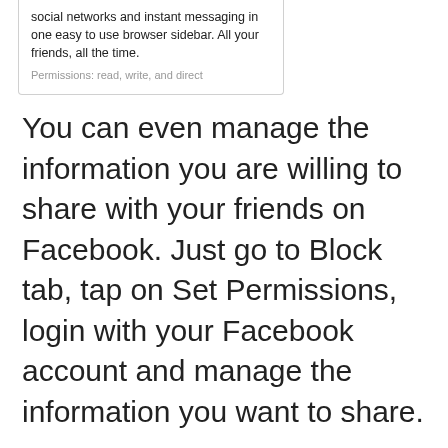social networks and instant messaging in one easy to use browser sidebar. All your friends, all the time.
Permissions: read, write, and direct
You can even manage the information you are willing to share with your friends on Facebook. Just go to Block tab, tap on Set Permissions, login with your Facebook account and manage the information you want to share.